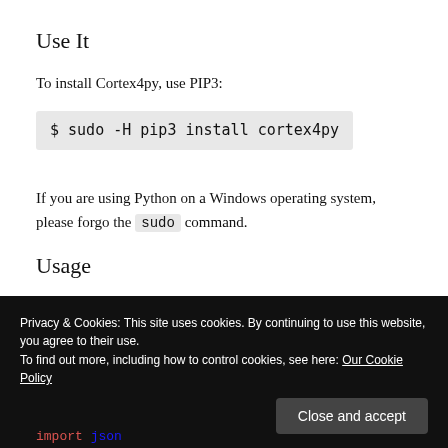Use It
To install Cortex4py, use PIP3:
If you are using Python on a Windows operating system, please forgo the sudo command.
Usage
Cortex4py 2 comes with a usage guide which includes many examples. For example, if you want to fetch the last
Privacy & Cookies: This site uses cookies. By continuing to use this website, you agree to their use.
To find out more, including how to control cookies, see here: Our Cookie Policy
Close and accept
import json